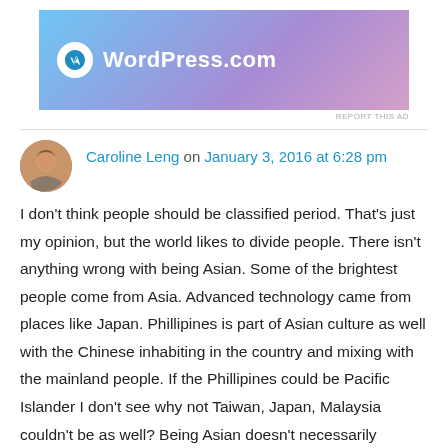[Figure (logo): WordPress.com advertisement banner with blue-purple gradient background and white WordPress logo and text]
REPORT THIS AD
Caroline Leng on January 3, 2016 at 6:28 pm
I don't think people should be classified period. That's just my opinion, but the world likes to divide people. There isn't anything wrong with being Asian. Some of the brightest people come from Asia. Advanced technology came from places like Japan. Phillipines is part of Asian culture as well with the Chinese inhabiting in the country and mixing with the mainland people. If the Phillipines could be Pacific Islander I don't see why not Taiwan, Japan, Malaysia couldn't be as well? Being Asian doesn't necessarily